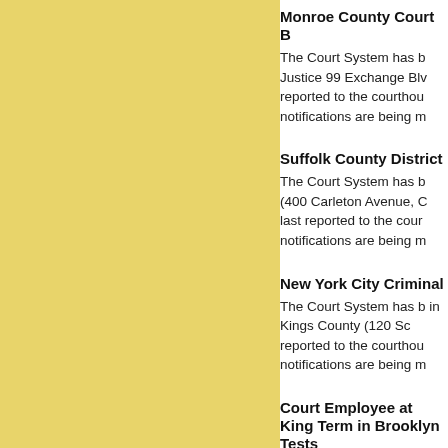Monroe County Court B
The Court System has b Justice 99 Exchange Blv reported to the courthou notifications are being m
Suffolk County District
The Court System has b (400 Carleton Avenue, C last reported to the cour notifications are being m
New York City Criminal
The Court System has b in Kings County (120 Sc reported to the courthou notifications are being m
Court Employee at King Term in Brooklyn Tests
The Court System has b